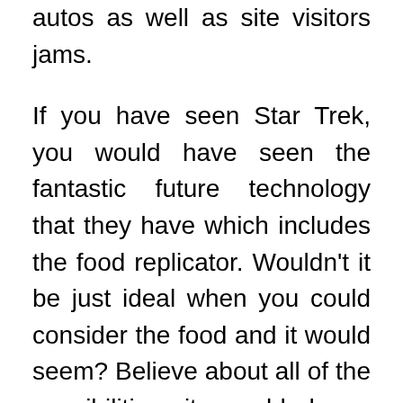autos as well as site visitors jams.
If you have seen Star Trek, you would have seen the fantastic future technology that they have which includes the food replicator. Wouldn't it be just ideal when you could consider the food and it would seem? Believe about all of the possibilities it would have, particularly to solve world hunger. In addition, if one particular could have something that is a universal communicator, which would make traveling that significantly